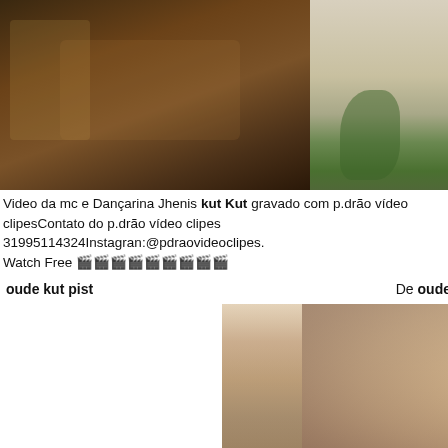[Figure (photo): Indoor scene with person sitting at a table with chairs, dimly lit brown tones]
[Figure (photo): Outdoor scene showing concrete pavement with a small green plant growing through cracks]
Video da mc e Dançarina Jhenis kut Kut gravado com p.drão vídeo clipesContato do p.drão vídeo clipes 31995114324Instagran:@pdraovideoclipes.
Watch Free 🎬🎬🎬🎬🎬🎬🎬🎬🎬
oude kut pist    De oude
[Figure (photo): Portrait of a woman with long brown hair, blue eyes, wearing earrings, smiling]